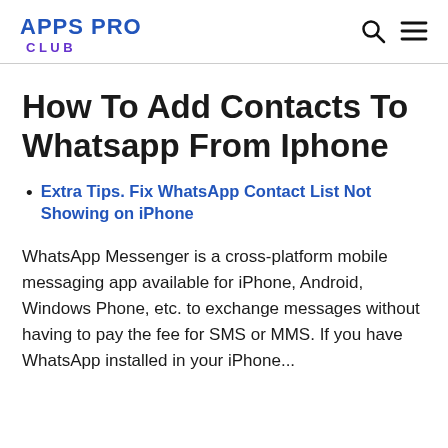APPS PRO CLUB
How To Add Contacts To Whatsapp From Iphone
Extra Tips. Fix WhatsApp Contact List Not Showing on iPhone
WhatsApp Messenger is a cross-platform mobile messaging app available for iPhone, Android, Windows Phone, etc. to exchange messages without having to pay the fee for SMS or MMS. If you have WhatsApp installed in your iPhone...